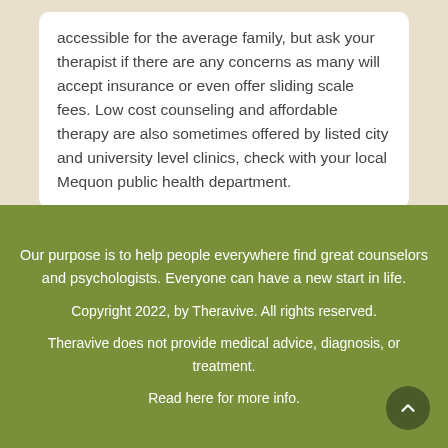accessible for the average family, but ask your therapist if there are any concerns as many will accept insurance or even offer sliding scale fees. Low cost counseling and affordable therapy are also sometimes offered by listed city and university level clinics, check with your local Mequon public health department.
Our purpose is to help people everywhere find great counselors and psychologists. Everyone can have a new start in life.
Copyright 2022, by Theravive. All rights reserved.
Theravive does not provide medical advice, diagnosis, or treatment.
Read here for more info.